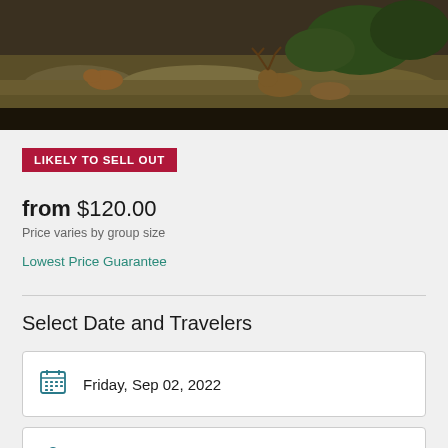[Figure (photo): Wildlife photo showing deer/elk and a fox in a rocky, grassy landscape with trees in background]
LIKELY TO SELL OUT
from $120.00
Price varies by group size
Lowest Price Guarantee
Select Date and Travelers
Friday, Sep 02, 2022
Number of travelers